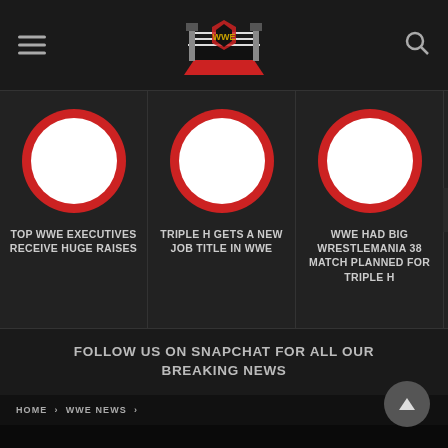[Figure (logo): WWE-style wrestling ring logo in red and white with ropes]
[Figure (screenshot): Carousel of three news article cards with circular placeholder images. Card 1: TOP WWE EXECUTIVES RECEIVE HUGE RAISES. Card 2: TRIPLE H GETS A NEW JOB TITLE IN WWE. Card 3: WWE HAD BIG WRESTLEMANIA 38 MATCH PLANNED FOR TRIPLE H. Partial fourth card visible.]
FOLLOW US ON SNAPCHAT FOR ALL OUR BREAKING NEWS
HOME > WWE NEWS >